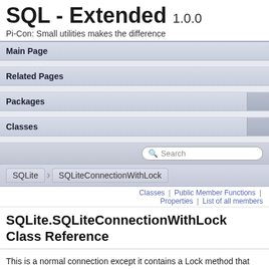SQL - Extended 1.0.0
Pi-Con: Small utilities makes the difference
Main Page
Related Pages
Packages
Classes
SQLite  SQLiteConnectionWithLock
Classes | Public Member Functions | Properties | List of all members
SQLite.SQLiteConnectionWithLock Class Reference
This is a normal connection except it contains a Lock method that can be used to serialize access to the database in lieu of using the